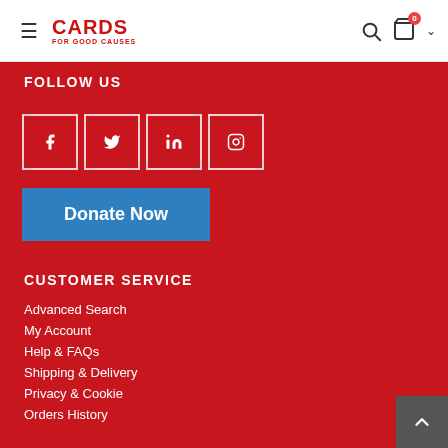[Figure (logo): Cards for Good Causes logo with hamburger menu icon on left, search and cart icons on right]
FOLLOW US
[Figure (infographic): Social media icon buttons: Facebook, Twitter, LinkedIn, Instagram in outlined squares]
Donate Now
CUSTOMER SERVICE
Advanced Search
My Account
Help & FAQs
Shipping & Delivery
Privacy & Cookie
Orders History